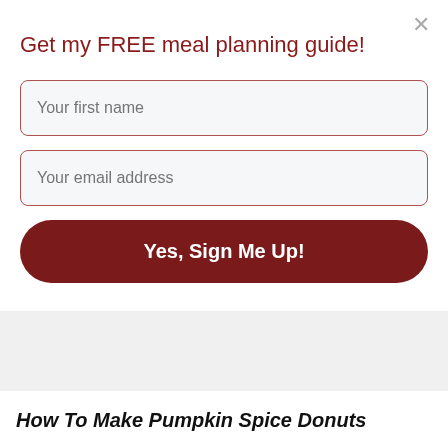Get my FREE meal planning guide!
Your first name
Your email address
Yes, Sign Me Up!
How To Make Pumpkin Spice Donuts
Use quality ingredients for best flavor and results when making these Pumpkin Spice Donuts.